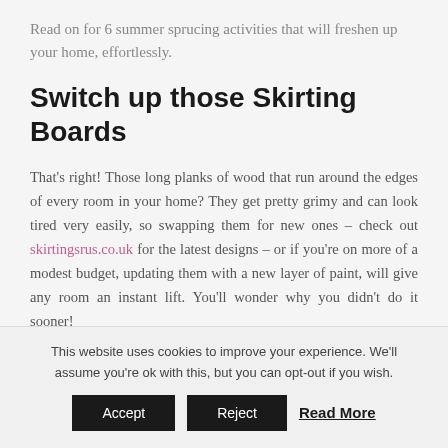Read on for 6 summer sprucing activities that will freshen up your home, effortlessly.
Switch up those Skirting Boards
That's right! Those long planks of wood that run around the edges of every room in your home? They get pretty grimy and can look tired very easily, so swapping them for new ones – check out skirtingsrus.co.uk for the latest designs – or if you're on more of a modest budget, updating them with a new layer of paint, will give any room an instant lift. You'll wonder why you didn't do it sooner!
This website uses cookies to improve your experience. We'll assume you're ok with this, but you can opt-out if you wish. Accept Reject Read More